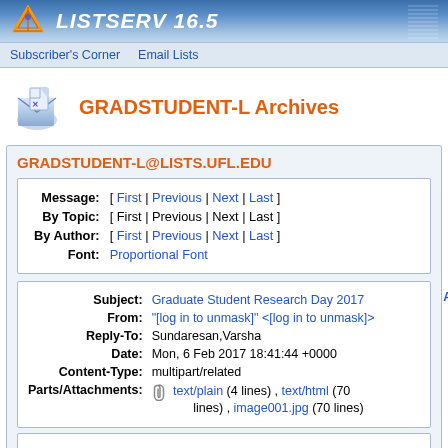LISTSERV 16.5
Subscriber's Corner  Email Lists
GRADSTUDENT-L Archives
GRADSTUDENT-L@LISTS.UFL.EDU
| Message: | [ First | Previous | Next | Last ] |
| By Topic: | [ First | Previous | Next | Last ] |
| By Author: | [ First | Previous | Next | Last ] |
| Font: | Proportional Font |
| Subject: | Graduate Student Research Day 2017 |
| From: | "[log in to unmask]" <[log in to unmask]> |
| Reply-To: | Sundaresan,Varsha |
| Date: | Mon, 6 Feb 2017 18:41:44 +0000 |
| Content-Type: | multipart/related |
| Parts/Attachments: | text/plain (4 lines) , text/html (70 lines) , image001.jpg (70 lines) |